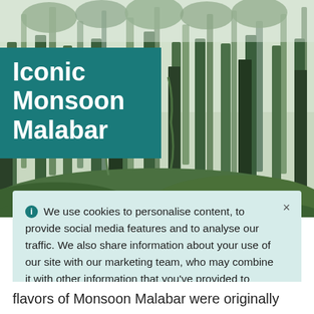[Figure (photo): Lush green forest with tall trees and dense foliage, misty atmosphere, monsoon-style jungle landscape]
Iconic Monsoon Malabar
We use cookies to personalise content, to provide social media features and to analyse our traffic. We also share information about your use of our site with our marketing team, who may combine it with other information that you've provided to them. Find out more
flavors of Monsoon Malabar were originally